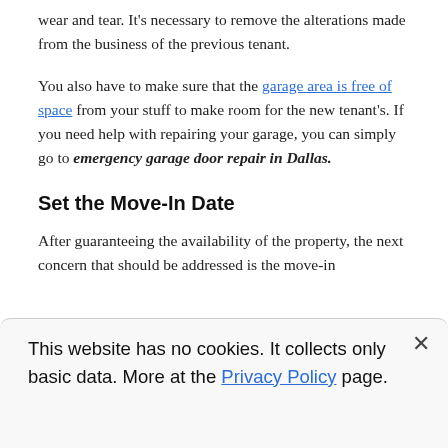wear and tear. It's necessary to remove the alterations made from the business of the previous tenant.
You also have to make sure that the garage area is free of space from your stuff to make room for the new tenant's. If you need help with repairing your garage, you can simply go to emergency garage door repair in Dallas.
Set the Move-In Date
After guaranteeing the availability of the property, the next concern that should be addressed is the move-in
This website has no cookies. It collects only basic data. More at the Privacy Policy page.